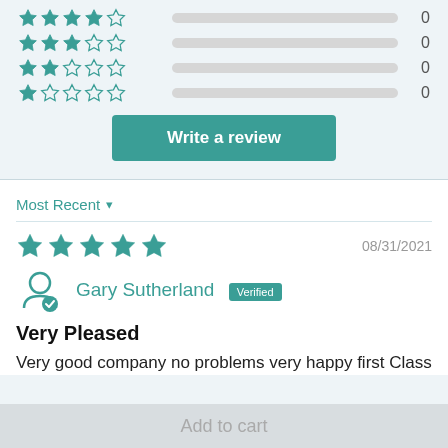[Figure (other): Star rating rows with 4-star, 3-star, 2-star, 1-star showing 0 counts each with empty progress bars]
Write a review
Most Recent
[Figure (other): 5 filled teal stars rating]
08/31/2021
Gary Sutherland Verified
Very Pleased
Very good company no problems very happy first Class
Add to cart